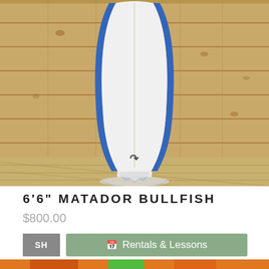[Figure (photo): A white surfboard with blue rails and a fish tail (twin fin), standing upright against a wooden plank wall. The board has a small logo near the tail. A white traction pad or tail pad is visible at the base. The floor appears to be wooden boards.]
6'6" MATADOR BULLFISH
$800.00
SH
Rentals & Lessons
[Figure (photo): Partial view of a colorful surfboard or banner with cartoon alien/monster graphics in green and orange tones.]